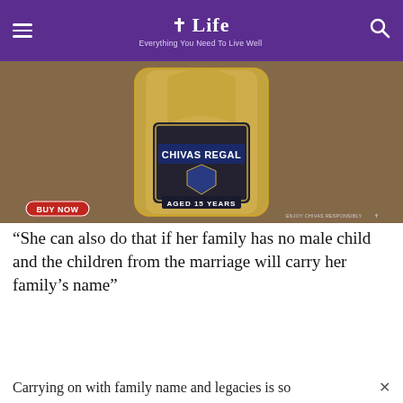Life — Everything You Need To Live Well
[Figure (photo): Chivas Regal Aged 15 Years whisky bottle close-up with gold label, accompanied by a BUY NOW button in red and small text ENJOY CHIVAS RESPONSIBLY at bottom right.]
“She can also do that if her family has no male child and the children from the marriage will carry her family’s name”
Carrying on with family name and legacies is so